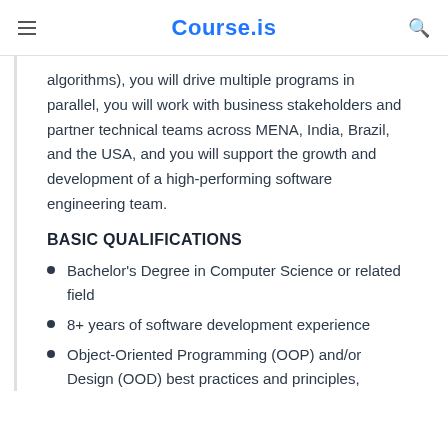Course.is
algorithms), you will drive multiple programs in parallel, you will work with business stakeholders and partner technical teams across MENA, India, Brazil, and the USA, and you will support the growth and development of a high-performing software engineering team.
BASIC QUALIFICATIONS
Bachelor's Degree in Computer Science or related field
8+ years of software development experience
Object-Oriented Programming (OOP) and/or Design (OOD) best practices and principles,